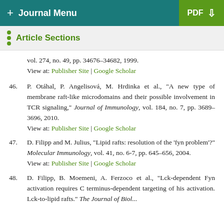+ Journal Menu | PDF
Article Sections
vol. 274, no. 49, pp. 34676–34682, 1999. View at: Publisher Site | Google Scholar
46. P. Otáhal, P. Angelisová, M. Hrdinka et al., "A new type of membrane raft-like microdomains and their possible involvement in TCR signaling," Journal of Immunology, vol. 184, no. 7, pp. 3689–3696, 2010. View at: Publisher Site | Google Scholar
47. D. Filipp and M. Julius, "Lipid rafts: resolution of the 'fyn problem'?" Molecular Immunology, vol. 41, no. 6-7, pp. 645–656, 2004. View at: Publisher Site | Google Scholar
48. D. Filipp, B. Moemeni, A. Ferzoco et al., "Lck-dependent Fyn activation requires C terminus-dependent targeting of his activation. Lck-to-lipid rafts." The Journal of Biological...